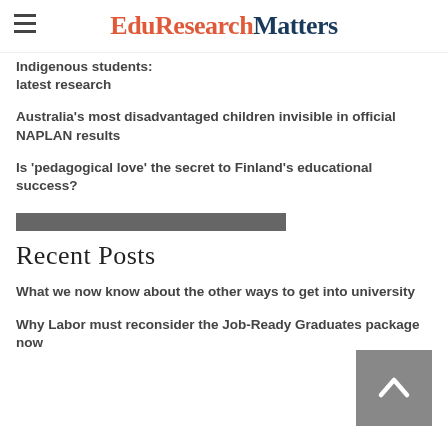EduResearchMatters
Indigenous students: latest research
Australia's most disadvantaged children invisible in official NAPLAN results
Is 'pedagogical love' the secret to Finland's educational success?
Recent Posts
What we now know about the other ways to get into university
Why Labor must reconsider the Job-Ready Graduates package now